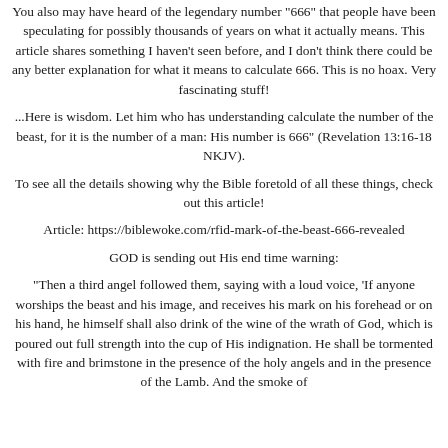You also may have heard of the legendary number "666" that people have been speculating for possibly thousands of years on what it actually means. This article shares something I haven't seen before, and I don't think there could be any better explanation for what it means to calculate 666. This is no hoax. Very fascinating stuff!
...Here is wisdom. Let him who has understanding calculate the number of the beast, for it is the number of a man: His number is 666" (Revelation 13:16-18 NKJV).
To see all the details showing why the Bible foretold of all these things, check out this article!
Article: https://biblewoke.com/rfid-mark-of-the-beast-666-revealed
GOD is sending out His end time warning:
"Then a third angel followed them, saying with a loud voice, 'If anyone worships the beast and his image, and receives his mark on his forehead or on his hand, he himself shall also drink of the wine of the wrath of God, which is poured out full strength into the cup of His indignation. He shall be tormented with fire and brimstone in the presence of the holy angels and in the presence of the Lamb. And the smoke of